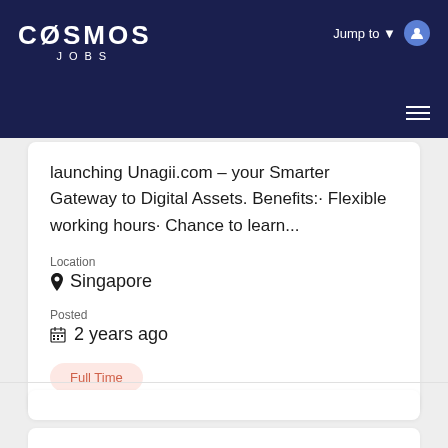COSMOS JOBS — Jump to
launching Unagii.com – your Smarter Gateway to Digital Assets. Benefits:· Flexible working hours· Chance to learn...
Location
Singapore
Posted
2 years ago
Full Time